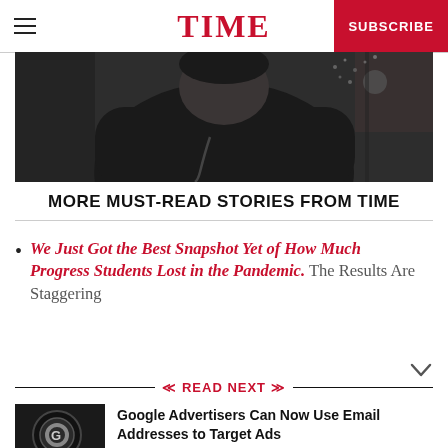TIME | SUBSCRIBE
[Figure (photo): Partial photo of a person in dark clothing, partially cropped, dark background]
MORE MUST-READ STORIES FROM TIME
We Just Got the Best Snapshot Yet of How Much Progress Students Lost in the Pandemic. The Results Are Staggering
READ NEXT
[Figure (photo): Google logo in a circular lens or magnifying glass, black and white thumbnail]
Google Advertisers Can Now Use Email Addresses to Target Ads